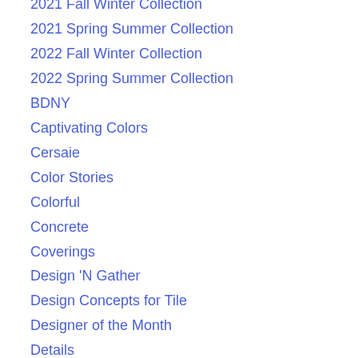2021 Fall Winter Collection
2021 Spring Summer Collection
2022 Fall Winter Collection
2022 Spring Summer Collection
BDNY
Captivating Colors
Cersaie
Color Stories
Colorful
Concrete
Coverings
Design 'N Gather
Design Concepts for Tile
Designer of the Month
Details
Dimensional
Floor Tiles
Geometric
Glass
Holiday
Interior Design